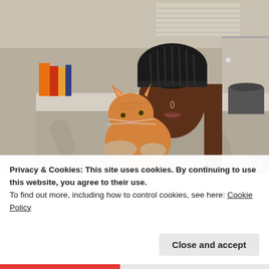[Figure (photo): A young woman wearing a black knit beanie hat and grey top, holding an orange/ginger cat. She is looking down at the cat with her mouth slightly open. The background shows an office or kitchen setting with shelves, books, and appliances.]
Privacy & Cookies: This site uses cookies. By continuing to use this website, you agree to their use.
To find out more, including how to control cookies, see here: Cookie Policy
Close and accept